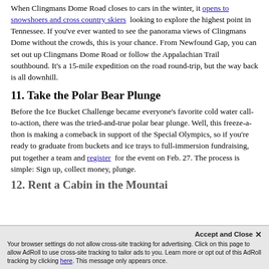When Clingmans Dome Road closes to cars in the winter, it opens to snowshoers and cross country skiers looking to explore the highest point in Tennessee. If you've ever wanted to see the panorama views of Clingmans Dome without the crowds, this is your chance. From Newfound Gap, you can set out up Clingmans Dome Road or follow the Appalachian Trail southbound. It's a 15-mile expedition on the road round-trip, but the way back is all downhill.
11. Take the Polar Bear Plunge
Before the Ice Bucket Challenge became everyone's favorite cold water call-to-action, there was the tried-and-true polar bear plunge. Well, this freeze-a-thon is making a comeback in support of the Special Olympics, so if you're ready to graduate from buckets and ice trays to full-immersion fundraising, put together a team and register for the event on Feb. 27. The process is simple: Sign up, collect money, plunge.
12. Rent a Cabin in the Mountai…
Your browser settings do not allow cross-site tracking for advertising. Click on this page to allow AdRoll to use cross-site tracking to tailor ads to you. Learn more or opt out of this AdRoll tracking by clicking here. This message only appears once.